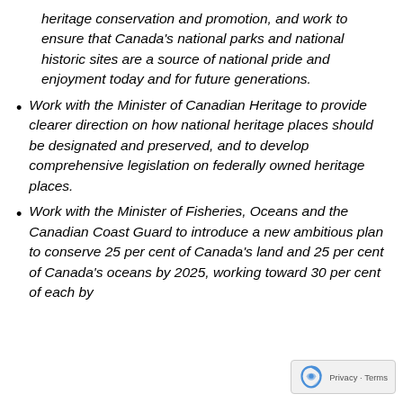heritage conservation and promotion, and work to ensure that Canada's national parks and national historic sites are a source of national pride and enjoyment today and for future generations.
Work with the Minister of Canadian Heritage to provide clearer direction on how national heritage places should be designated and preserved, and to develop comprehensive legislation on federally owned heritage places.
Work with the Minister of Fisheries, Oceans and the Canadian Coast Guard to introduce a new ambitious plan to conserve 25 per cent of Canada's land and 25 per cent of Canada's oceans by 2025, working toward 30 per cent of each by